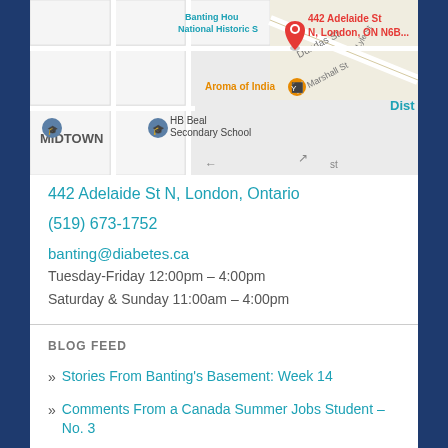[Figure (map): Google Maps screenshot showing 442 Adelaide St N, London, ON N6B... with a red location pin. Nearby landmarks include Banting House National Historic Site, Aroma of India restaurant, HB Beal Secondary School, and the Midtown neighborhood label. Streets visible include Dundas St, Marshall St, and Lyle St.]
442 Adelaide St N, London, Ontario
(519) 673-1752
banting@diabetes.ca
Tuesday-Friday 12:00pm – 4:00pm
Saturday & Sunday 11:00am – 4:00pm
BLOG FEED
» Stories From Banting's Basement: Week 14
» Comments From a Canada Summer Jobs Student – No. 3